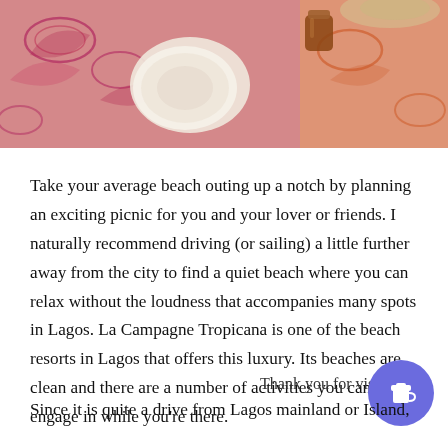[Figure (photo): Close-up photo of a decorative plate and jar on a colorful paisley patterned fabric/tablecloth with red, orange, and white motifs]
Take your average beach outing up a notch by planning an exciting picnic for you and your lover or friends. I naturally recommend driving (or sailing) a little further away from the city to find a quiet beach where you can relax without the loudness that accompanies many spots in Lagos. La Campagne Tropicana is one of the beach resorts in Lagos that offers this luxury. Its beaches are clean and there are a number of activities you can engage in while you're there.
Thank you for visiting!
Since it is quite a drive from Lagos mainland or Island,